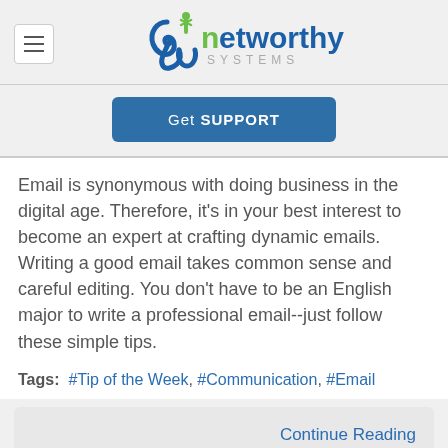networthy SYSTEMS
Get SUPPORT
Email is synonymous with doing business in the digital age. Therefore, it's in your best interest to become an expert at crafting dynamic emails. Writing a good email takes common sense and careful editing. You don't have to be an English major to write a professional email--just follow these simple tips.
Tags:  #Tip of the Week, #Communication, #Email
Continue Reading